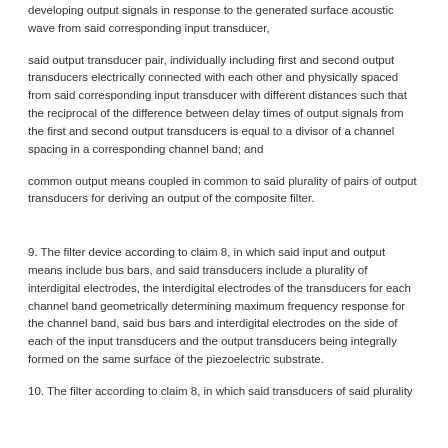developing output signals in response to the generated surface acoustic wave from said corresponding input transducer,
said output transducer pair, individually including first and second output transducers electrically connected with each other and physically spaced from said corresponding input transducer with different distances such that the reciprocal of the difference between delay times of output signals from the first and second output transducers is equal to a divisor of a channel spacing in a corresponding channel band; and
common output means coupled in common to said plurality of pairs of output transducers for deriving an output of the composite filter.
9. The filter device according to claim 8, in which said input and output means include bus bars, and said transducers include a plurality of interdigital electrodes, the interdigital electrodes of the transducers for each channel band geometrically determining maximum frequency response for the channel band, said bus bars and interdigital electrodes on the side of each of the input transducers and the output transducers being integrally formed on the same surface of the piezoelectric substrate.
10. The filter according to claim 8, in which said transducers of said plurality